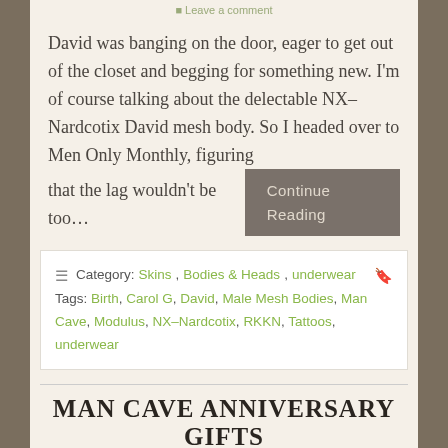Leave a comment
David was banging on the door, eager to get out of the closet and begging for something new. I'm of course talking about the delectable NX–Nardcotix David mesh body. So I headed over to Men Only Monthly, figuring that the lag wouldn't be too…
Continue Reading
Category: Skins, Bodies & Heads, underwear  Tags: Birth, Carol G, David, Male Mesh Bodies, Man Cave, Modulus, NX–Nardcotix, RKKN, Tattoos, underwear
MAN CAVE ANNIVERSARY GIFTS